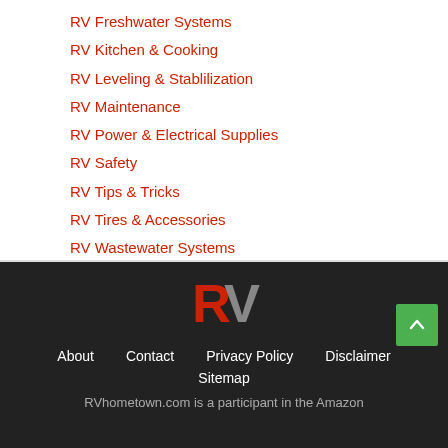RV Freshwater Systems
RV Kitchen & Cooking
RV Leveling & Stablilization
RV Maintenance
RV Power & Electrical Supplies
RV Safety
RV Tips & Tricks
RV Tires & Accessories
RV Wastewater Systems
[Figure (logo): RV hometown logo — stylized red R and grey V lettermark]
About   Contact   Privacy Policy   Disclaimer   Sitemap
RVhometown.com is a participant in the Amazon